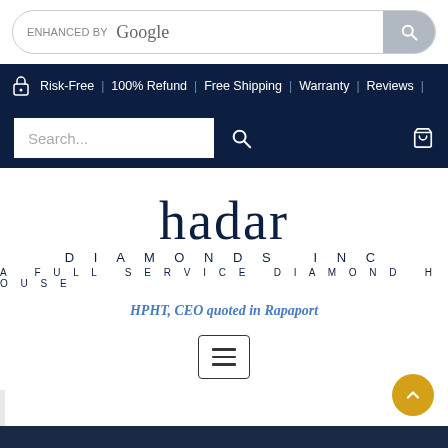[Figure (screenshot): Google enhanced search bar at top of page]
Risk-Free | 100% Refund | Free Shipping | Warranty | Reviews |
[Figure (screenshot): Search input box with magnifier icon and cart icon on dark navy background]
[Figure (logo): Hadar Diamonds Inc logo — 'hadar' in large serif, 'DIAMONDS INC' and 'A FULL SERVICE DIAMOND HOUSE' in spaced caps]
HPHT, CEO quoted in Rapaport
[Figure (other): Hamburger menu button (three horizontal lines in a rounded rectangle border)]